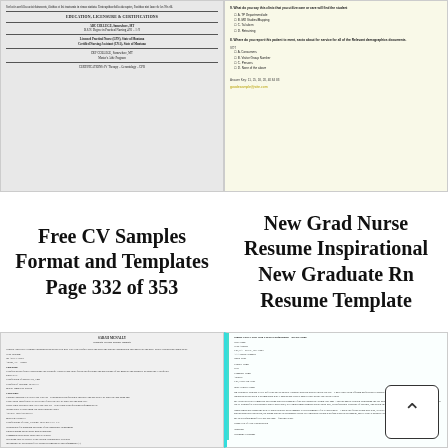[Figure (screenshot): Thumbnail of a CV/resume document showing Education, Licensure & Certifications section with degree and certification details]
[Figure (screenshot): Thumbnail of a nursing survey/questionnaire form with multiple choice questions and a highlighted email address in yellow]
Free CV Samples Format and Templates Page 332 of 353
New Grad Nurse Resume Inspirational New Graduate Rn Resume Template
[Figure (screenshot): Thumbnail of a detailed resume document with multiple sections including experience, education, and skills in small text]
[Figure (screenshot): Thumbnail of a cover letter for a Social Worker with a Master's degree with teal left border, including back-to-top arrow button]